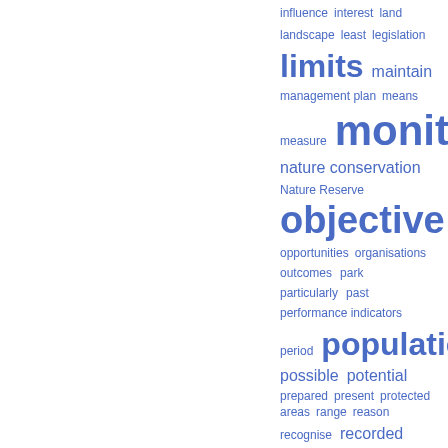[Figure (other): Word cloud showing terms related to nature conservation and park management, displayed in the right half of the page. Words vary in size indicating frequency/importance. Key terms include: influence, interest, land, landscape, least, legislation, limits, maintain, management plan, means, measure, monitoring, nature conservation, Nature Reserve, objective, opportunities, organisations, outcomes, park, particularly, past, performance indicators, period, population, possible, potential, prepared, present, protected areas, range, reason, recognise, recorded, recreation, relationship]